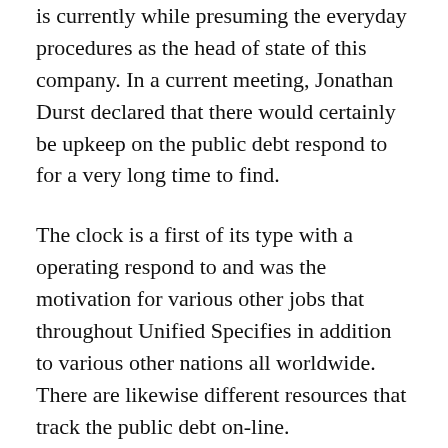is currently while presuming the everyday procedures as the head of state of this company. In a current meeting, Jonathan Durst declared that there would certainly be upkeep on the public debt respond to for a very long time to find.
The clock is a first of its type with a operating respond to and was the motivation for various other jobs that throughout Unified Specifies in addition to various other nations all worldwide. There are likewise different resources that track the public debt on-line.
The financial obligation respond to has likewise influenced a number of non-debt drivened jobs. Mainly jobs handling a digital signboards. There were signboards of this kind set up to track the quantity of electrical power that specific business are utilizing in addition to signboards set up...